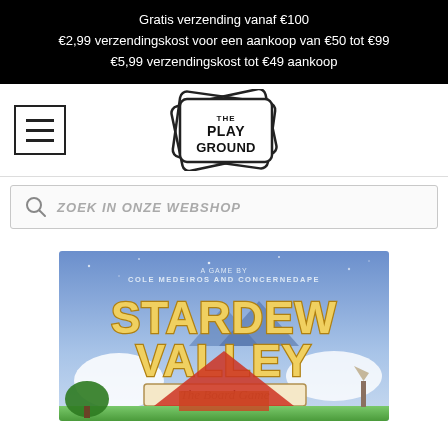Gratis verzending vanaf €100
€2,99 verzendingskost voor een aankoop van €50 tot €99
€5,99 verzendingskost tot €49 aankoop
[Figure (logo): The Playground logo — stylized playing card with 'THE PLAY GROUND' text, with hamburger menu icon to the left]
[Figure (screenshot): Search bar with magnifier icon and placeholder text 'ZOEK IN ONZE WEBSHOP']
[Figure (photo): Stardew Valley: The Board Game box art — title text on blue sky background with valley scenery, subtitle 'The Board Game', credit 'A GAME BY COLE MEDEIROS AND CONCERNEDAPE']